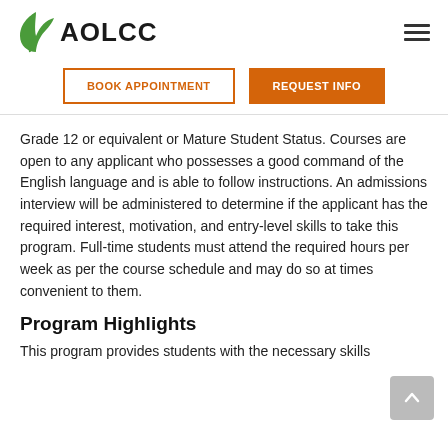AOLCC
Grade 12 or equivalent or Mature Student Status. Courses are open to any applicant who possesses a good command of the English language and is able to follow instructions. An admissions interview will be administered to determine if the applicant has the required interest, motivation, and entry-level skills to take this program. Full-time students must attend the required hours per week as per the course schedule and may do so at times convenient to them.
Program Highlights
This program provides students with the necessary skills and knowledge required to perform successfully administrative